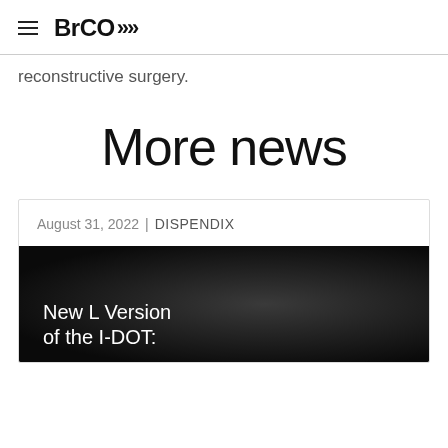BrCO
reconstructive surgery.
More news
August 31, 2022 | DISPENDIX
New L Version of the I-DOT: